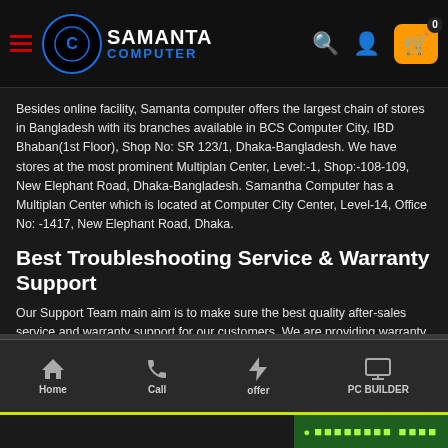Samanta Computer — navigation header with logo, search, user, and cart icons
Besides online facility, Samanta computer offers the largest chain of stores in Bangladesh with its branches available in BCS Computer City, IBD Bhaban(1st Floor), Shop No: SR 123/1, Dhaka-Bangladesh. We have stores at the most prominent Multiplan Center, Level:-1, Shop:-108-109, New Elephant Road, Dhaka-Bangladesh. Samantha Computer has a Multiplan Center which is located at Computer City Center, Level-14, Office No: -1417, New Elephant Road, Dhaka.
Best Troubleshooting Service & Warranty Support
Our Support Team main aim is to make sure the best quality after-sales service and warranty support for our customers. We are providing warranty and after-sales service from our Special Service Center & Warranty Center, no matter from which branch he or she purchased the product. Customer satisfaction is our main goal to achieve.
Home | Call | offer | PC BUILDER